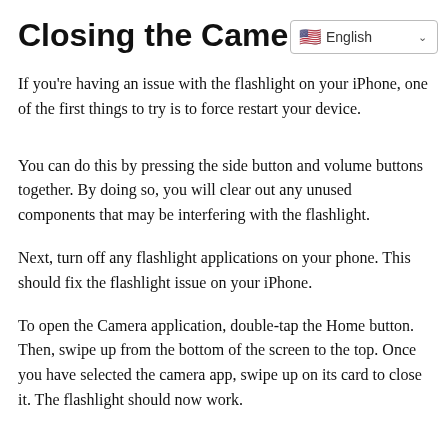Closing the Camera
If you're having an issue with the flashlight on your iPhone, one of the first things to try is to force restart your device.
You can do this by pressing the side button and volume buttons together. By doing so, you will clear out any unused components that may be interfering with the flashlight.
Next, turn off any flashlight applications on your phone. This should fix the flashlight issue on your iPhone.
To open the Camera application, double-tap the Home button. Then, swipe up from the bottom of the screen to the top. Once you have selected the camera app, swipe up on its card to close it. The flashlight should now work.